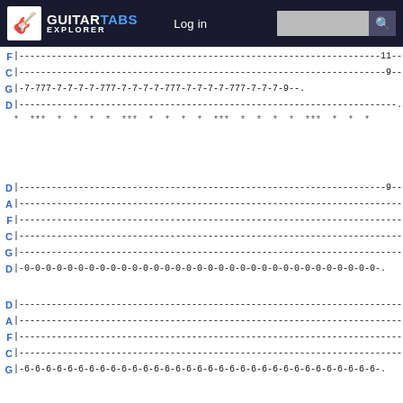GUITARTABS EXPLORER | Log in | Search
F|-------------------------------------------------------------------11--.
C|--------------------------------------------------------------------9--.
G|-7-777-7-7-7-7-777-7-7-7-7-777-7-7-7-7-777-7-7-7-9--.
D|-----------------------------------------------------------------------.
*  ***  *  *  *  *  ***  *  *  *  *  ***  *  *  *  *  ***  *  *  *
D|--------------------------------------------------------------------9---.
A|--------------------------------------------------------------------------.
F|--------------------------------------------------------------------------.
C|--------------------------------------------------------------------------.
G|--------------------------------------------------------------------------.
D|-0-0-0-0-0-0-0-0-0-0-0-0-0-0-0-0-0-0-0-0-0-0-0-0-0-0-0-0-0-0-0-0-0-.
D|--------------------------------------------------------------------------.
A|--------------------------------------------------------------------------.
F|--------------------------------------------------------------------------.
C|--------------------------------------------------------------------------.
G|-6-6-6-6-6-6-6-6-6-6-6-6-6-6-6-6-6-6-6-6-6-6-6-6-6-6-6-6-6-6-6-6-6-.